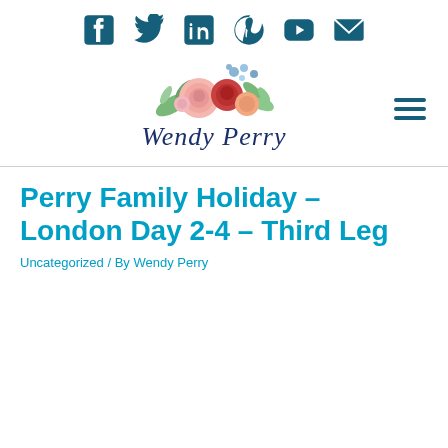[Figure (other): Social media icons row: Facebook, Twitter, LinkedIn, Pinterest, YouTube, Email — all in dark teal color]
[Figure (logo): Wendy Perry logo with watercolor floral arrangement above cursive 'Wendy Perry' text in navy blue]
Perry Family Holiday – London Day 2-4 – Third Leg
Uncategorized / By Wendy Perry